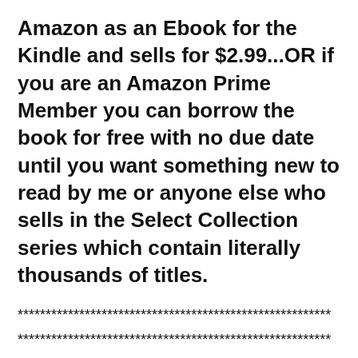Amazon as an Ebook for the Kindle and sells for $2.99...OR if you are an Amazon Prime Member you can borrow the book for free with no due date until you want something new to read by me or anyone else who sells in the Select Collection series which contain literally thousands of titles.
********************************************************
********************************************************
****
The KDP Select Program through Amazon I think personally is a great idea...it basically sets up a fund or bank if you will to allow self